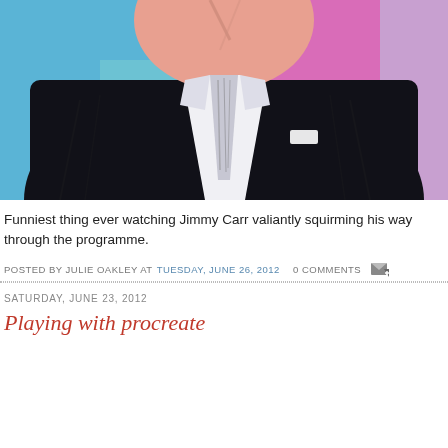[Figure (illustration): Digital illustrated portrait of a man in a dark suit with white shirt and tie, cropped to show torso and partial head. Background has patches of blue, pink and magenta color. The illustration has a sketchy, digital art style.]
Funniest thing ever watching Jimmy Carr valiantly squirming his way through the programme.
POSTED BY JULIE OAKLEY AT TUESDAY, JUNE 26, 2012   0 COMMENTS
SATURDAY, JUNE 23, 2012
Playing with procreate